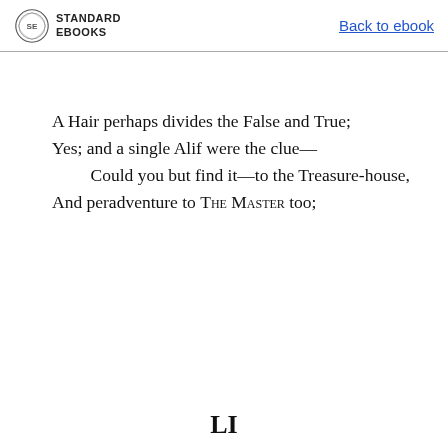STANDARD EBOOKS | Back to ebook
A Hair perhaps divides the False and True;
Yes; and a single Alif were the clue—
    Could you but find it—to the Treasure-house,
And peradventure to The Master too;
LI